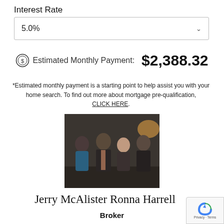Interest Rate
5.0%
Estimated Monthly Payment: $2,388.32
*Estimated monthly payment is a starting point to help assist you with your home search. To find out more about mortgage pre-qualification, CLICK HERE.
[Figure (photo): Group photo of four people (two men and two women) at a formal event, dark background with warm lighting]
Jerry McAlister Ronna Harrell
Broker